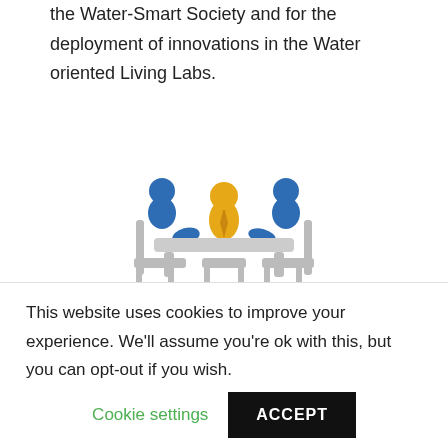the Water-Smart Society and for the deployment of innovations in the Water oriented Living Labs.
[Figure (illustration): Icon of three people seated at a table: two blue figures on the sides and one orange figure in the center, representing a working group meeting.]
WE Working Groups
The operational instrument for members' collaboration, producing technical and scientific inputs on a series of themes. WE facilitates their operation through a range of
This website uses cookies to improve your experience. We'll assume you're ok with this, but you can opt-out if you wish.
Cookie settings    ACCEPT